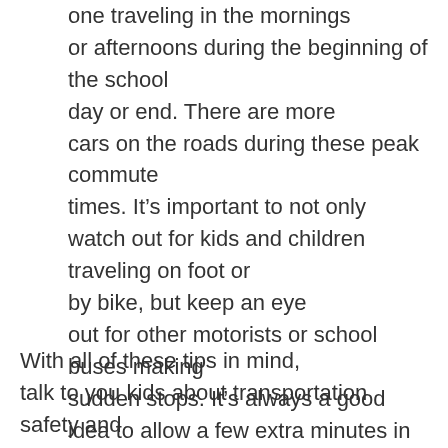one traveling in the mornings or afternoons during the beginning of the school day or end. There are more cars on the roads during these peak commute times. It's important to not only watch out for kids and children traveling on foot or by bike, but keep an eye out for other motorists or school buses making sudden stops. It's always a good idea to allow a few extra minutes in the beginning of the school year to determine a new route or longer commute if necessary.
With all of these tips in mind, talk to you kids about transportation safety and walking or riding around